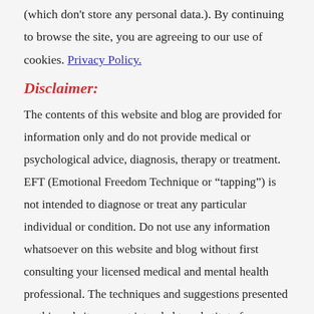(which don't store any personal data.). By continuing to browse the site, you are agreeing to our use of cookies. Privacy Policy.
Disclaimer:
The contents of this website and blog are provided for information only and do not provide medical or psychological advice, diagnosis, therapy or treatment. EFT (Emotional Freedom Technique or “tapping”) is not intended to diagnose or treat any particular individual or condition. Do not use any information whatsoever on this website and blog without first consulting your licensed medical and mental health professional. The techniques and suggestions presented on this website are not intended to substitute for proper medical and/or psychological advice. If you have any diagnosed medical conditions, health problems, or mental health issues, seek your physician's advice before acting on any of the information in this website and blog. Do not discontinue or